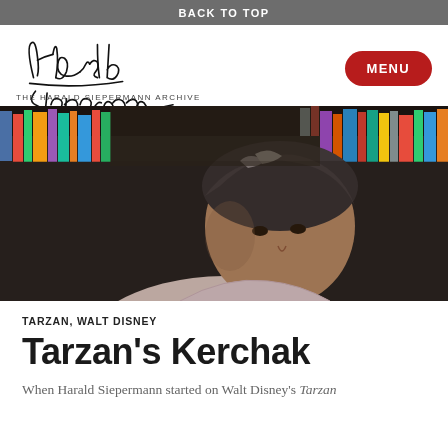BACK TO TOP
[Figure (logo): Harald Siepermann signature logo with text THE HARALD SIEPERMANN ARCHIVE]
[Figure (photo): Portrait photo of a middle-aged man with grey-streaked dark hair, wearing a light pink shirt, seated in front of bookshelves filled with books and colorful spines]
TARZAN, WALT DISNEY
Tarzan's Kerchak
When Harald Siepermann started on Walt Disney's Tarzan